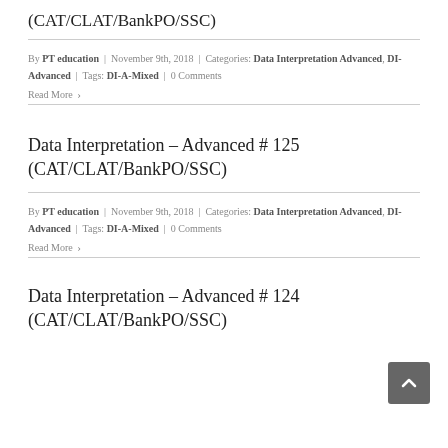(CAT/CLAT/BankPO/SSC)
By PT education | November 9th, 2018 | Categories: Data Interpretation Advanced, DI-Advanced | Tags: DI-A-Mixed | 0 Comments
Read More ›
Data Interpretation – Advanced # 125 (CAT/CLAT/BankPO/SSC)
By PT education | November 9th, 2018 | Categories: Data Interpretation Advanced, DI-Advanced | Tags: DI-A-Mixed | 0 Comments
Read More ›
Data Interpretation – Advanced # 124 (CAT/CLAT/BankPO/SSC)